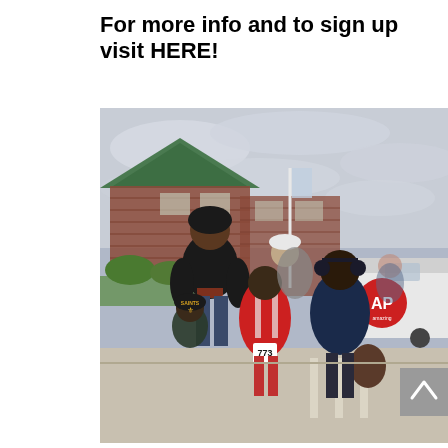For more info and to sign up visit HERE!
[Figure (photo): A family of five posing outdoors at what appears to be a race or community event. A tall man in a black jacket and beanie hat stands on the left smiling. A young boy wearing a Saints baseball cap stands in front of him. In the center background is a woman in a white hat. In the front center is a girl in a red tracksuit with race bib number 773. On the right is a woman in a dark blue puffy jacket wearing ear muffs. Behind them is a brick building with a green roof and a white van with an AP logo. The sky is overcast.]